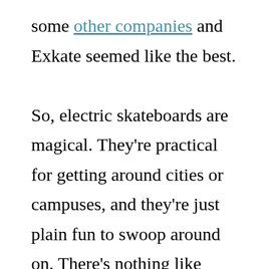some other companies and Exkate seemed like the best.

So, electric skateboards are magical. They're practical for getting around cities or campuses, and they're just plain fun to swoop around on. There's nothing like carving up a hill. I hear Ryan North of Dinosaur Comics rides longboards and might be interested in getting one like mine, so maybe we can start a webcomic-author electric skateboard club.